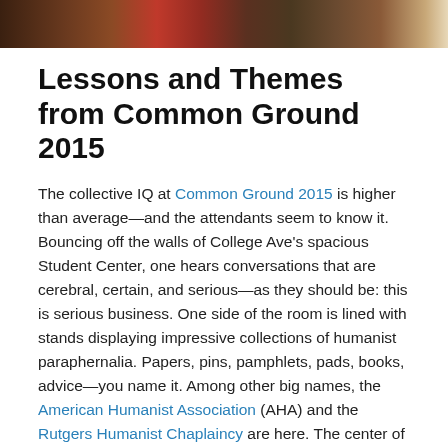[Figure (photo): Cropped photo strip showing people at a conference/event, partially visible at the top of the page with dark reddish-brown tones]
Lessons and Themes from Common Ground 2015
The collective IQ at Common Ground 2015 is higher than average—and the attendants seem to know it. Bouncing off the walls of College Ave's spacious Student Center, one hears conversations that are cerebral, certain, and serious—as they should be: this is serious business. One side of the room is lined with stands displaying impressive collections of humanist paraphernalia. Papers, pins, pamphlets, pads, books, advice—you name it. Among other big names, the American Humanist Association (AHA) and the Rutgers Humanist Chaplaincy are here. The center of the room is divided by an enormous buffet of middle eastern food. I am only slightly embarrassed to say